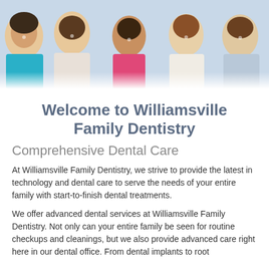[Figure (photo): Group photo of a smiling family including adults and a child in a pink shirt, posed together]
Welcome to Williamsville Family Dentistry
Comprehensive Dental Care
At Williamsville Family Dentistry, we strive to provide the latest in technology and dental care to serve the needs of your entire family with start-to-finish dental treatments.
We offer advanced dental services at Williamsville Family Dentistry. Not only can your entire family be seen for routine checkups and cleanings, but we also provide advanced care right here in our dental office. From dental implants to root